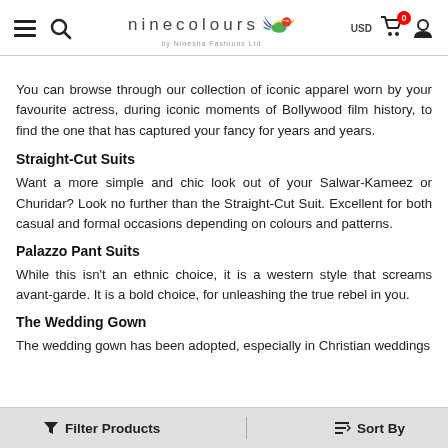ninecolours by Ninesha Fashions Ltd — navigation header with hamburger, search, logo, USD, cart (0), user icon
You can browse through our collection of iconic apparel worn by your favourite actress, during iconic moments of Bollywood film history, to find the one that has captured your fancy for years and years.
Straight-Cut Suits
Want a more simple and chic look out of your Salwar-Kameez or Churidar? Look no further than the Straight-Cut Suit. Excellent for both casual and formal occasions depending on colours and patterns.
Palazzo Pant Suits
While this isn't an ethnic choice, it is a western style that screams avant-garde. It is a bold choice, for unleashing the true rebel in you.
The Wedding Gown
The wedding gown has been adopted, especially in Christian weddings
Filter Products   Sort By